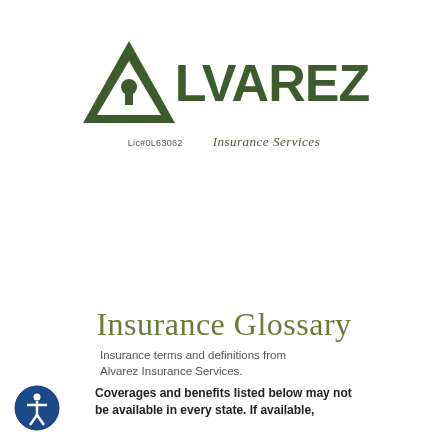[Figure (logo): Alvarez Insurance Services logo: dark green triangle/house icon with keyhole, large LVAREZ text, Lic#0L63082, Insurance Services tagline]
[Figure (photo): Horizontal banner photo strip showing outdoor scene with people and greenery]
[Figure (infographic): Navigation row with 5 circular icons: car/auto insurance, home insurance, business/store insurance, ID/card insurance, and a compass/logo icon]
Insurance Glossary
Insurance terms and definitions from Alvarez Insurance Services.
Coverages and benefits listed below may not be available in every state. If available,